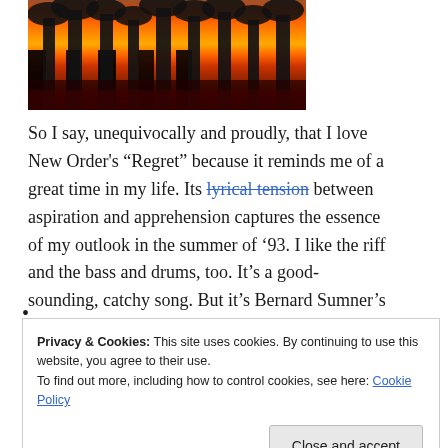[Figure (photo): Silhouettes of trees and horses against a vivid orange, red, and yellow sunset sky]
So I say, unequivocally and proudly, that I love New Order's “Regret” because it reminds me of a great time in my life. Its lyrical tension between aspiration and apprehension captures the essence of my outlook in the summer of ’93. I like the riff and the bass and drums, too. It’s a good-sounding, catchy song. But it’s Bernard Sumner’s lyrics and delivery that really resonate.
Privacy & Cookies: This site uses cookies. By continuing to use this website, you agree to their use.
To find out more, including how to control cookies, see here: Cookie Policy
Close and accept